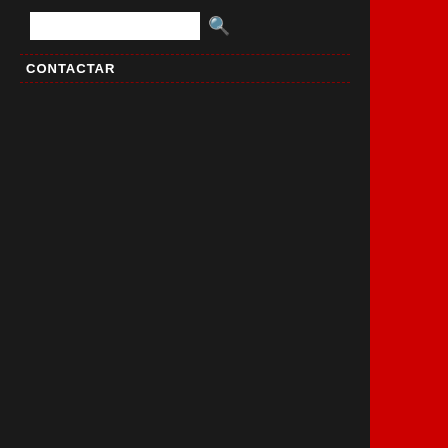help in writing thesis http://thesissgj.com/#>
19/02/2020 - TyroneElurb (h
confezioni cialis 10 mg
<a href=https://irlviagratablet...
<a href="https://irlviagratable...
sildenafil sandoz 100 mg pre...
19/02/2020 - TyroneElurb (h
buy viagra paypal account
<a href=https://irlviagratablet...
<a href="https://irlviagratable...
http://www.viagra-cheap-sho...
Click here to write an entry...
Back 1 2 3 4 5 6 7 8 9 10 11...
34 35 36 37 38 39 40 41 42 4...
65 66 67 68 69 70 71 72 73 7...
96 97 98 99 100 101 102 103...
119 120 121 122 123 124 12...
141 142 143 144 145 146 14...
163 164 165 166 167 168 16...
185 186 187 188 189 190 19...
207 208 209 210 211 212 21...
229 230 231 232 233 234 23...
251 252 253 254 255 256 25...
273 274 275 276 277 278 27...